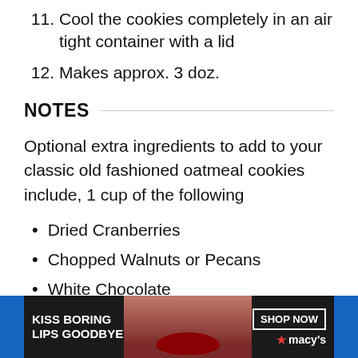11. Cool the cookies completely in an air tight container with a lid
12. Makes approx. 3 doz.
NOTES
Optional extra ingredients to add to your classic old fashioned oatmeal cookies include, 1 cup of the following
Dried Cranberries
Chopped Walnuts or Pecans
White Chocolate
Half Cup White Chocolate/Ha…
[Figure (screenshot): Advertisement banner for Macy's lip products with text 'KISS BORING LIPS GOODBYE' and 'SHOP NOW' button, featuring a model with red lips. A CLOSE button overlay is visible.]